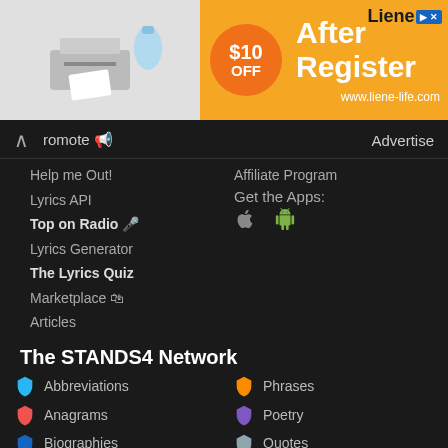[Figure (infographic): Advertisement banner: printer/photo device on gray background, orange circle with $10 OFF, orange background with text 'After Register' and 'www.liene-life.com', Liene logo with x button]
Promote 📢
Advertise
Help me Out!
Affiliate Program
Lyrics API
Top on Radio 🎤
Get the Apps:
Lyrics Generator
The Lyrics Quiz
Marketplace 🛍
Articles
The STANDS4 Network
Abbreviations
Phrases
Anagrams
Poetry
Biographies
Quotes
Conversions
References
Calculators
Rhymes
Definitions
Scripts
Grammar
Symbols
Literature
Synonyms